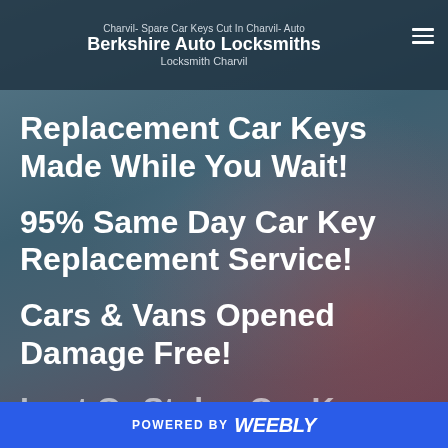Charvil- Spare Car Keys Cut In Charvil- Auto Berkshire Auto Locksmiths Locksmith Charvil
Replacement Car Keys Made While You Wait!
95% Same Day Car Key Replacement Service!
Cars & Vans Opened Damage Free!
Lost Or Stolen Car Keys
POWERED BY weebly